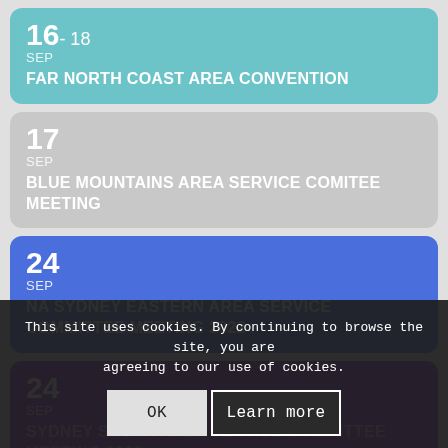16-18 SEP
FAR NORTH COAST AREA CONVENTION
17 SEP
BLUE MOUNTAINS AREA SERVICE COMITEE MEETING
24 SEP
NA SYDNEY EASTERN AREA SERVICE COMMITTEE MEETING 2022
24 SEP
SYDNEY SOUTH AREA SERVICE COMMITTEE MEETING 2022
24 SEP
This site uses cookies. By continuing to browse the site, you are agreeing to our use of cookies.